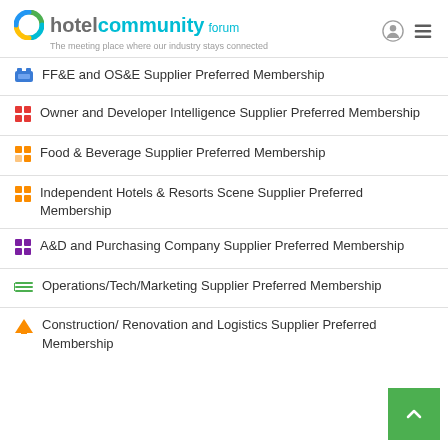hotel community forum — The meeting place where our industry stays connected
FF&E and OS&E Supplier Preferred Membership
Owner and Developer Intelligence Supplier Preferred Membership
Food & Beverage Supplier Preferred Membership
Independent Hotels & Resorts Scene Supplier Preferred Membership
A&D and Purchasing Company Supplier Preferred Membership
Operations/Tech/Marketing Supplier Preferred Membership
Construction/ Renovation and Logistics Supplier Preferred Membership